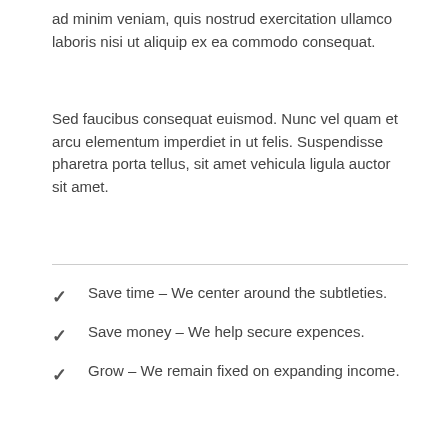ad minim veniam, quis nostrud exercitation ullamco laboris nisi ut aliquip ex ea commodo consequat.
Sed faucibus consequat euismod. Nunc vel quam et arcu elementum imperdiet in ut felis. Suspendisse pharetra porta tellus, sit amet vehicula ligula auctor sit amet.
Save time – We center around the subtleties.
Save money – We help secure expences.
Grow – We remain fixed on expanding income.